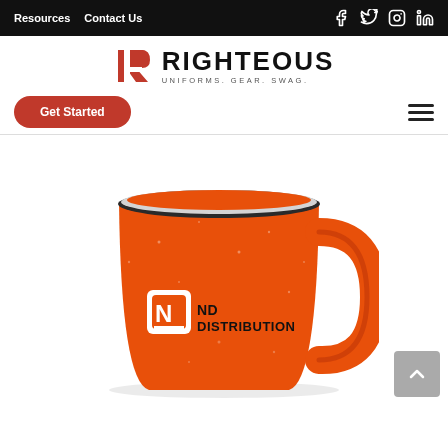Resources  Contact Us  [Facebook] [Twitter] [Instagram] [LinkedIn]
[Figure (logo): Righteous Uniforms Gear Swag logo with red R icon]
Get Started
[Figure (photo): Orange speckled campfire mug with ND Distribution logo printed on it]